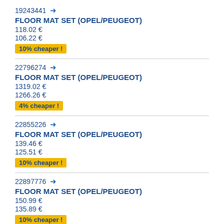19243441 → FLOOR MAT SET (OPEL/PEUGEOT) 118.02 € 106.22 € 10% cheaper !
22796274 → FLOOR MAT SET (OPEL/PEUGEOT) 1319.02 € 1266.26 € 4% cheaper !
22855226 → FLOOR MAT SET (OPEL/PEUGEOT) 139.46 € 125.51 € 10% cheaper !
22897776 → FLOOR MAT SET (OPEL/PEUGEOT) 150.99 € 135.89 € 10% cheaper !